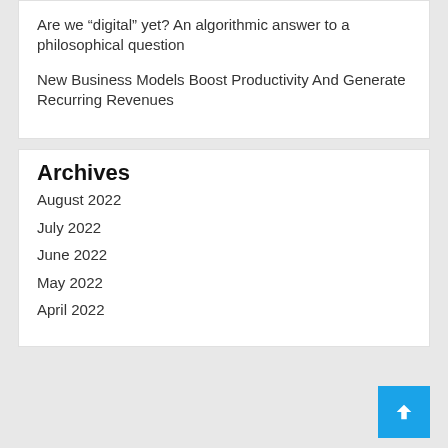Are we “digital” yet? An algorithmic answer to a philosophical question
New Business Models Boost Productivity And Generate Recurring Revenues
Archives
August 2022
July 2022
June 2022
May 2022
April 2022